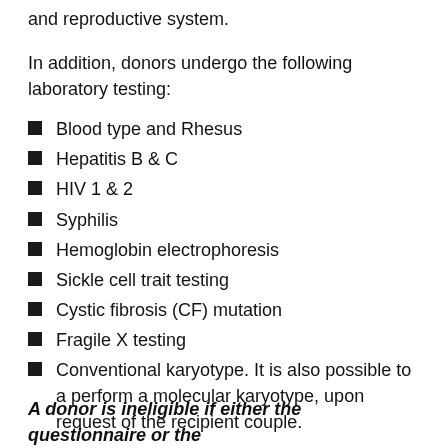and reproductive system.
In addition, donors undergo the following laboratory testing:
Blood type and Rhesus
Hepatitis B & C
HIV 1 & 2
Syphilis
Hemoglobin electrophoresis
Sickle cell trait testing
Cystic fibrosis (CF) mutation
Fragile X testing
Conventional karyotype. It is also possible to a perform a molecular karyotype, upon request of the recipient couple.
A donor is ineligible if either the questionnaire or the